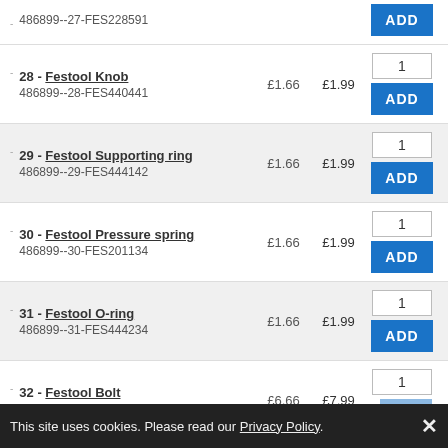486899--27-FES228591 | ADD
28 - Festool Knob | 486899--28-FES440441 | £1.66 | £1.99 | ADD
29 - Festool Supporting ring | 486899--29-FES444142 | £1.66 | £1.99 | ADD
30 - Festool Pressure spring | 486899--30-FES201134 | £1.66 | £1.99 | ADD
31 - Festool O-ring | 486899--31-FES444234 | £1.66 | £1.99 | ADD
32 - Festool Bolt | 486899--32-FES444116 | £6.66 | £7.99 | ADD
This site uses cookies. Please read our Privacy Policy. ×